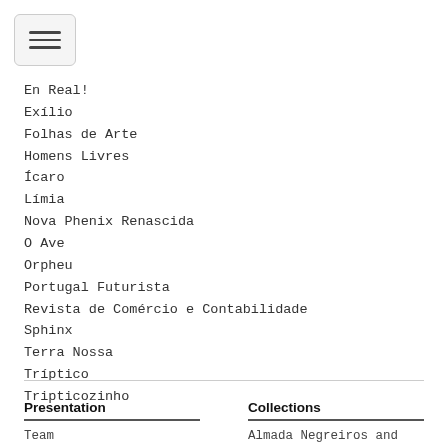En Real!
Exílio
Folhas de Arte
Homens Livres
Ícaro
Límia
Nova Phenix Renascida
O Ave
Orpheu
Portugal Futurista
Revista de Comércio e Contabilidade
Sphinx
Terra Nossa
Tríptico
Tripticozinho
Presentation
Collections
Team
Almada Negreiros and